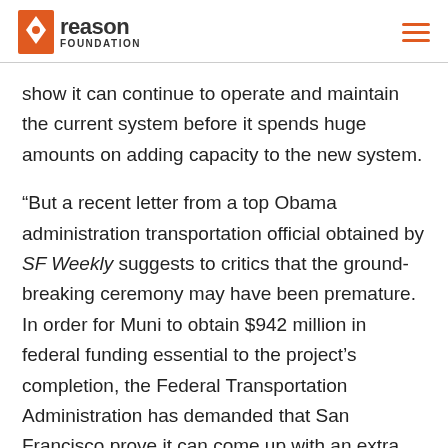Reason Foundation
show it can continue to operate and maintain the current system before it spends huge amounts on adding capacity to the new system.
“But a recent letter from a top Obama administration transportation official obtained by SF Weekly suggests to critics that the ground-breaking ceremony may have been premature. In order for Muni to obtain $942 million in federal funding essential to the project’s completion, the Federal Transportation Administration has demanded that San Francisco prove it can come up with an extra $164 million in local and state funds, and — harder still — prove that the subway won’t